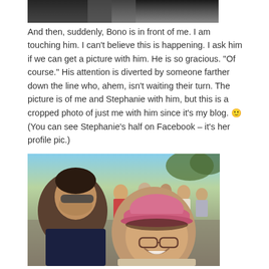[Figure (photo): Top portion of a photo, dark/shadowy image cropped at top]
And then, suddenly, Bono is in front of me. I am touching him. I can't believe this is happening. I ask him if we can get a picture with him. He is so gracious. "Of course." His attention is diverted by someone farther down the line who, ahem, isn't waiting their turn. The picture is of me and Stephanie with him, but this is a cropped photo of just me with him since it's my blog. 🙂 (You can see Stephanie's half on Facebook – it's her profile pic.)
[Figure (photo): Photo of a man (Bono) with sunglasses on the left, and a woman wearing a pink baseball cap and glasses smiling on the right, with a crowd of people visible in the background outdoors]